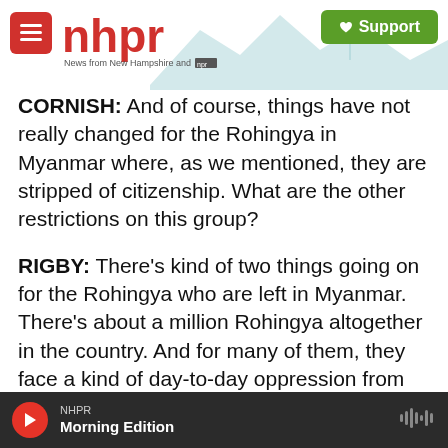NHPR — News from New Hampshire and NPR — Support
CORNISH: And of course, things have not really changed for the Rohingya in Myanmar where, as we mentioned, they are stripped of citizenship. What are the other restrictions on this group?
RIGBY: There's kind of two things going on for the Rohingya who are left in Myanmar. There's about a million Rohingya altogether in the country. And for many of them, they face a kind of day-to-day oppression from the authorities. So they were unable to vote in the election. They struggle to access healthcare, education, things like that. They [text continues cut off]
NHPR — Morning Edition